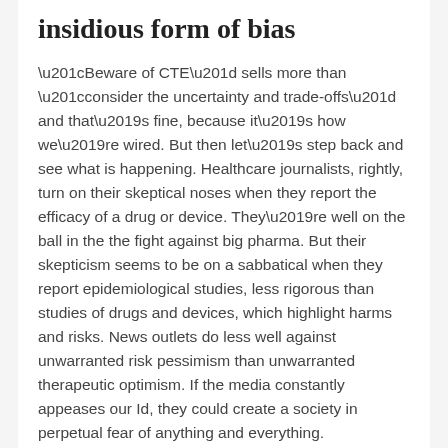insidious form of bias
“Beware of CTE” sells more than “consider the uncertainty and trade-offs” and that’s fine, because it’s how we’re wired. But then let’s step back and see what is happening. Healthcare journalists, rightly, turn on their skeptical noses when they report the efficacy of a drug or device. They’re well on the ball in the the fight against big pharma. But their skepticism seems to be on a sabbatical when they report epidemiological studies, less rigorous than studies of drugs and devices, which highlight harms and risks. News outlets do less well against unwarranted risk pessimism than unwarranted therapeutic optimism. If the media constantly appeases our Id, they could create a society in perpetual fear of anything and everything.
Selective skepticism is selective skepticism, but this...